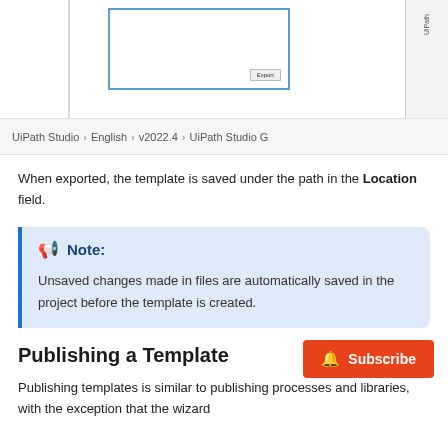[Figure (screenshot): Screenshot of UiPath Studio dialog with an Export button, and a right-side panel with vertical text.]
UiPath Studio > English > v2022.4 > UiPath Studio G
When exported, the template is saved under the path in the Location field.
Note: Unsaved changes made in files are automatically saved in the project before the template is created.
Publishing a Template
Publishing templates is similar to publishing processes and libraries, with the exception that the wizard